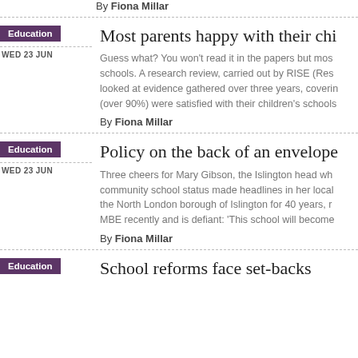By Fiona Millar
Education
WED 23 JUN
Most parents happy with their chi...
Guess what?  You won't read it in the papers but most schools. A research review, carried out by RISE (Res looked at evidence gathered over three years, coverin (over 90%) were satisfied with their children's schools
By Fiona Millar
Education
WED 23 JUN
Policy on the back of an envelope
Three cheers for Mary Gibson, the Islington head who community school status made headlines in her local the North London borough of Islington for 40 years, r MBE recently and is defiant: 'This school will become
By Fiona Millar
Education
School reforms face set-backs